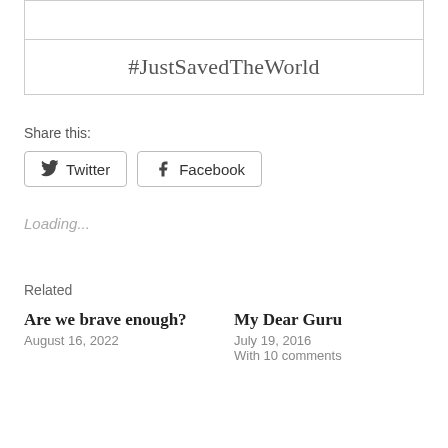[Figure (other): A bordered box with an upper empty section and a lower section containing the hashtag text #JustSavedTheWorld]
#JustSavedTheWorld
Share this:
Twitter
Facebook
Loading...
Related
Are we brave enough?
August 16, 2022
My Dear Guru
July 19, 2016
With 10 comments